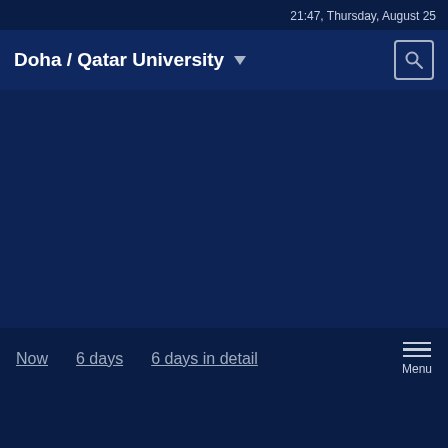21:47, Thursday, August 25
Doha / Qatar University
Now   6 days   6 days in detail   Menu